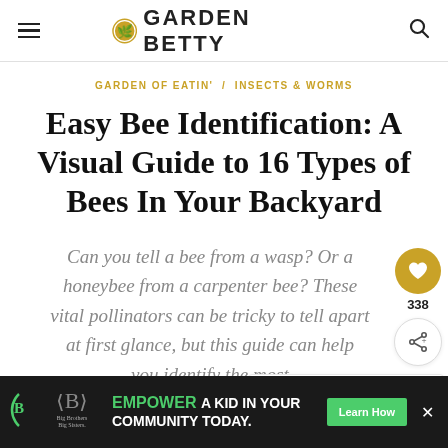GARDEN BETTY
GARDEN OF EATIN' / INSECTS & WORMS
Easy Bee Identification: A Visual Guide to 16 Types of Bees In Your Backyard
Can you tell a bee from a wasp? Or a honeybee from a carpenter bee? These vital pollinators can be tricky to tell apart at first glance, but this guide can help you identify the most
[Figure (other): What's Next widget showing a thumbnail of a carpenter bee with text 'How to Stop Carpenter...' and arrow]
[Figure (other): Advertisement banner: Big Brothers Big Sisters logo, 'EMPOWER A KID IN YOUR COMMUNITY TODAY.' with green Learn How button]